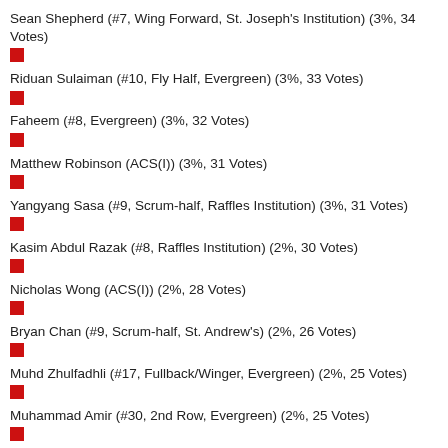Sean Shepherd (#7, Wing Forward, St. Joseph's Institution) (3%, 34 Votes)
Riduan Sulaiman (#10, Fly Half, Evergreen) (3%, 33 Votes)
Faheem (#8, Evergreen) (3%, 32 Votes)
Matthew Robinson (ACS(I)) (3%, 31 Votes)
Yangyang Sasa (#9, Scrum-half, Raffles Institution) (3%, 31 Votes)
Kasim Abdul Razak (#8, Raffles Institution) (2%, 30 Votes)
Nicholas Wong (ACS(I)) (2%, 28 Votes)
Bryan Chan (#9, Scrum-half, St. Andrew's) (2%, 26 Votes)
Muhd Zhulfadhli (#17, Fullback/Winger, Evergreen) (2%, 25 Votes)
Muhammad Amir (#30, 2nd Row, Evergreen) (2%, 25 Votes)
Irsyad (#10, Stand Off, Greenridge) (2%, 24 Votes)
Shah Asraff Khan (#13, Out Centre, ACS (Barker Road))